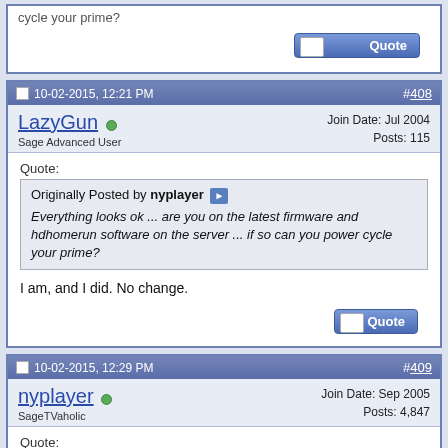cycle your prime?
Quote button
10-02-2015, 12:21 PM  #408
LazyGun (online) - Sage Advanced User
Join Date: Jul 2004
Posts: 115
Quote:
Originally Posted by nyplayer
Everything looks ok ... are you on the latest firmware and hdhomerun software on the server ... if so can you power cycle your prime?
I am, and I did. No change.
10-02-2015, 12:29 PM  #409
nyplayer (online) - SageTVaholic
Join Date: Sep 2005
Posts: 4,847
Quote:
Originally Posted by LazyGun
I am, and I did. No change.